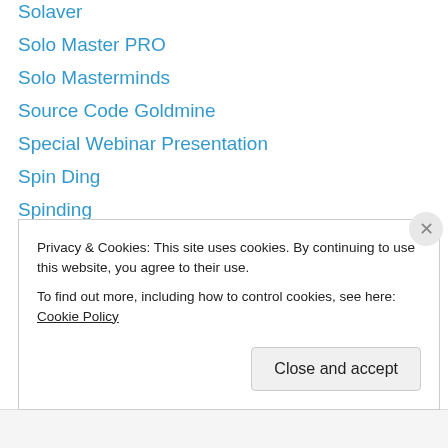Solaver
Solo Master PRO
Solo Masterminds
Source Code Goldmine
Special Webinar Presentation
Spin Ding
Spinding
Splash Page Surfer
Squeeze Ninja
Squeeze Ninja scam
SquishyCash
Star City Ads
Start City Ads
start my ripple
Privacy & Cookies: This site uses cookies. By continuing to use this website, you agree to their use. To find out more, including how to control cookies, see here: Cookie Policy
Close and accept